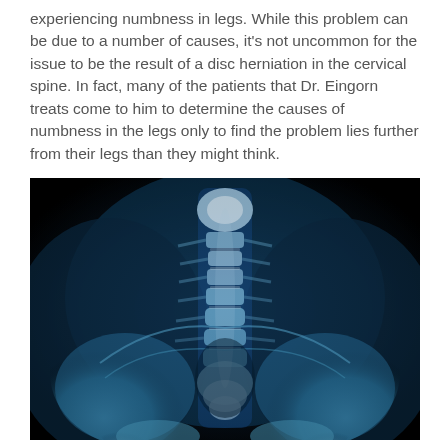experiencing numbness in legs. While this problem can be due to a number of causes, it's not uncommon for the issue to be the result of a disc herniation in the cervical spine. In fact, many of the patients that Dr. Eingorn treats come to him to determine the causes of numbness in the legs only to find the problem lies further from their legs than they might think.
[Figure (photo): X-ray image of the lumbar spine and pelvis, showing a frontal (AP) view. The spinal vertebrae are visible in the center with bright white/light blue coloring against a dark black background, and the iliac bones of the pelvis are visible on both sides at the bottom.]